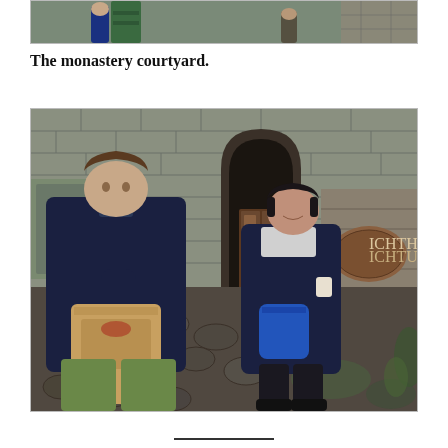[Figure (photo): Partial view of a monastery scene, top portion of a previous photo cropped at top of page]
The monastery courtyard.
[Figure (photo): Two people standing in a stone monastery courtyard. A young man in a dark navy jacket holding a brown paper bag on the left, and a woman in a dark jacket with a blue bag standing in front of a stone arch doorway in the center. A sign reading ICHTHUS is visible on a stone structure to the right.]